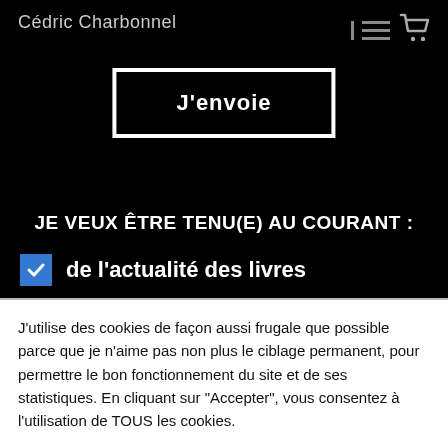Cédric Charbonnel
J'envoie
JE VEUX ÊTRE TENU(E) AU COURANT :
de l'actualité des livres
J'utilise des cookies de façon aussi frugale que possible parce que je n'aime pas non plus le ciblage permanent, pour permettre le bon fonctionnement du site et de ses statistiques. En cliquant sur "Accepter", vous consentez à l'utilisation de TOUS les cookies.
Paramètres
Accepter